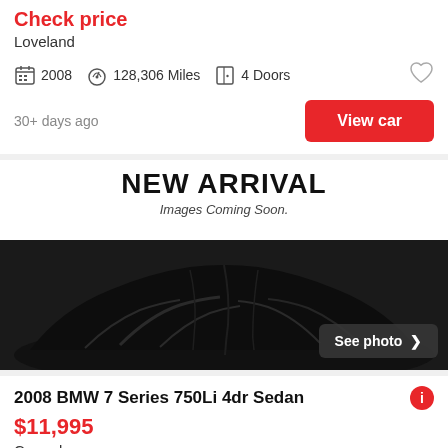Check price
Loveland
2008  128,306 Miles  4 Doors
30+ days ago
View car
[Figure (photo): New Arrival placeholder image showing a car covered with a black cloth/drape, with text 'NEW ARRIVAL' and 'Images Coming Soon.' overlay. A 'See photo >' button appears in the bottom right.]
2008 BMW 7 Series 750Li 4dr Sedan
$11,995
Carmel
2008